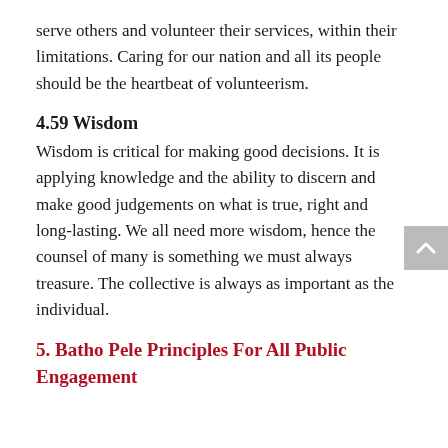serve others and volunteer their services, within their limitations. Caring for our nation and all its people should be the heartbeat of volunteerism.
4.59 Wisdom
Wisdom is critical for making good decisions. It is applying knowledge and the ability to discern and make good judgements on what is true, right and long-lasting. We all need more wisdom, hence the counsel of many is something we must always treasure. The collective is always as important as the individual.
5. Batho Pele Principles For All Public Engagement